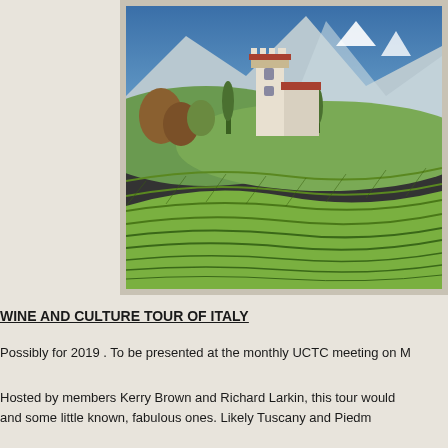[Figure (photo): Aerial view of an Italian estate or castle with terraced vineyards on a hillside, surrounded by green trees and mountains with snow-capped peaks in the background under a blue sky.]
WINE AND CULTURE TOUR OF ITALY
Possibly for 2019 . To be presented at the monthly UCTC meeting on M
Hosted by members Kerry Brown and Richard Larkin, this tour would and some little known, fabulous ones. Likely Tuscany and Piedm